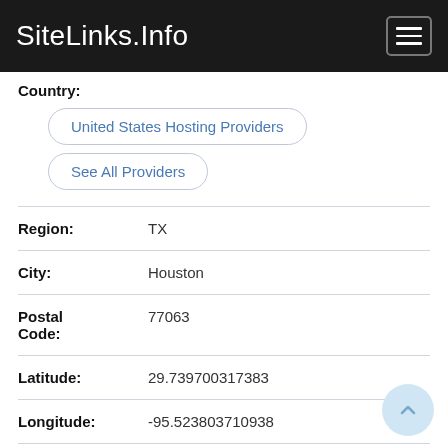SiteLinks.Info
Country:
United States Hosting Providers
See All Providers
| Field | Value |
| --- | --- |
| Region: | TX |
| City: | Houston |
| Postal Code: | 77063 |
| Latitude: | 29.739700317383 |
| Longitude: | -95.523803710938 |
| Area Code: | 713 |
| Email Abuse | No Emails Found |